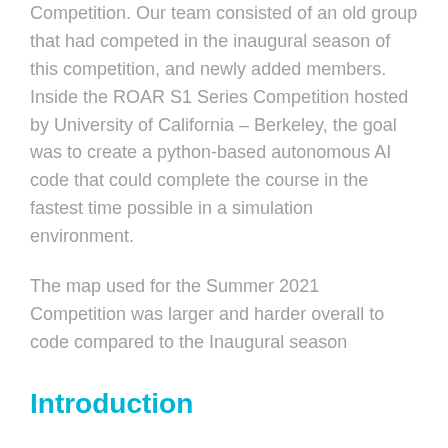Competition. Our team consisted of an old group that had competed in the inaugural season of this competition, and newly added members. Inside the ROAR S1 Series Competition hosted by University of California – Berkeley, the goal was to create a python-based autonomous AI code that could complete the course in the fastest time possible in a simulation environment.
The map used for the Summer 2021 Competition was larger and harder overall to code compared to the Inaugural season
Introduction